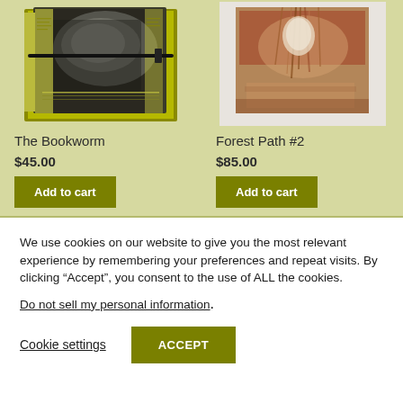[Figure (photo): Photo of 'The Bookworm' artwork - a mixed media book with dark and yellow-green textures, tied with black cord]
The Bookworm
$45.00
Add to cart
[Figure (photo): Photo of 'Forest Path #2' artwork - a mixed media piece with reddish-brown tones and fibrous textures hanging from top]
Forest Path #2
$85.00
Add to cart
We use cookies on our website to give you the most relevant experience by remembering your preferences and repeat visits. By clicking “Accept”, you consent to the use of ALL the cookies.
Do not sell my personal information.
Cookie settings
ACCEPT